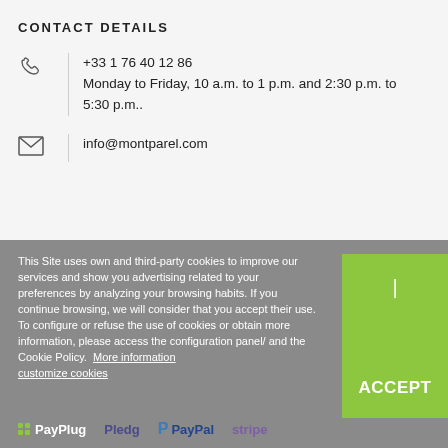CONTACT DETAILS
+33 1 76 40 12 86
Monday to Friday, 10 a.m. to 1 p.m. and 2:30 p.m. to 5:30 p.m..
info@montparel.com
This Site uses own and third-party cookies to improve our services and show you advertising related to your preferences by analyzing your browsing habits. If you continue browsing, we will consider that you accept their use. To configure or refuse the use of cookies or obtain more information, please access the configuration panel/ and the Cookie Policy.  More information  customize cookies
[Figure (logo): Payment provider logos: PayPlug, Pledg, PayPal, stripe]
ACCEPT